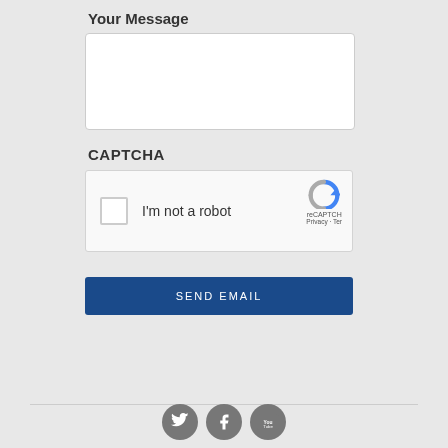Your Message
[Figure (screenshot): Empty white textarea input field for message]
CAPTCHA
[Figure (screenshot): reCAPTCHA widget with checkbox labeled I'm not a robot, reCAPTCHA logo, Privacy and Terms links]
[Figure (screenshot): SEND EMAIL button in dark blue]
[Figure (screenshot): Social media icons: Twitter, Facebook, YouTube]